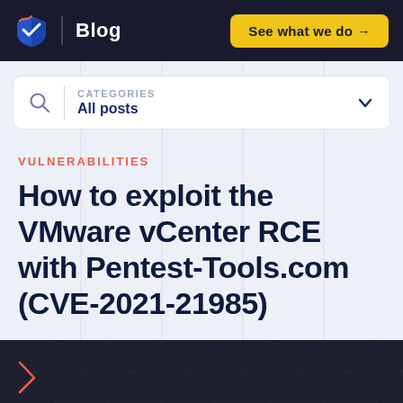Blog | See what we do →
CATEGORIES
All posts
VULNERABILITIES
How to exploit the VMware vCenter RCE with Pentest-Tools.com (CVE-2021-21985)